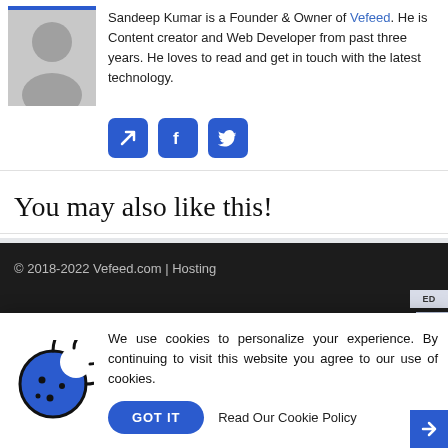Sandeep Kumar is a Founder & Owner of Vefeed. He is Content creator and Web Developer from past three years. He loves to read and get in touch with the latest technology.
[Figure (illustration): Three social media icon buttons: a link/arrow icon, Facebook icon, and Twitter icon, all with blue rounded square backgrounds.]
You may also like this!
© 2018-2022 Vefeed.com | Hosting
[Figure (infographic): Cookie consent popup with cookie icon, message about personalized experience and cookie use, a 'GOT IT' button and 'Read Our Cookie Policy' link.]